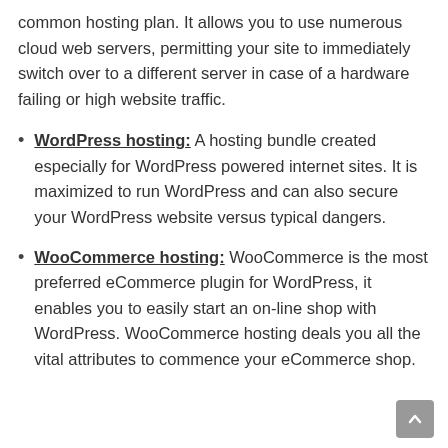common hosting plan. It allows you to use numerous cloud web servers, permitting your site to immediately switch over to a different server in case of a hardware failing or high website traffic.
WordPress hosting: A hosting bundle created especially for WordPress powered internet sites. It is maximized to run WordPress and can also secure your WordPress website versus typical dangers.
WooCommerce hosting: WooCommerce is the most preferred eCommerce plugin for WordPress, it enables you to easily start an on-line shop with WordPress. WooCommerce hosting deals you all the vital attributes to commence your eCommerce shop.